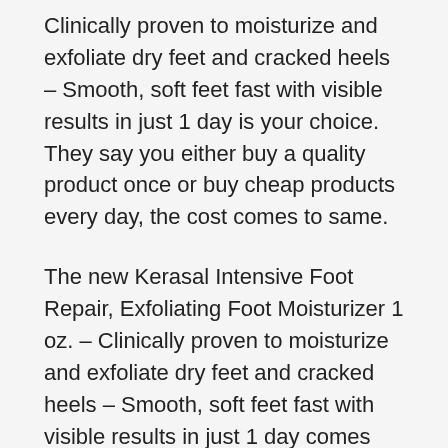Clinically proven to moisturize and exfoliate dry feet and cracked heels – Smooth, soft feet fast with visible results in just 1 day is your choice. They say you either buy a quality product once or buy cheap products every day, the cost comes to same.
The new Kerasal Intensive Foot Repair, Exfoliating Foot Moisturizer 1 oz. – Clinically proven to moisturize and exfoliate dry feet and cracked heels – Smooth, soft feet fast with visible results in just 1 day comes with best Price. It is industry's most trusted, most preferred and quality Miracle Food Repair 32 Oz and it considered as Gold Standard by many users as well as non-users.
If you are looking for a long-time investment with a quality Miracle Food Repair 32 Oz then don't look beyond Kerasal Intensive Foot Repair, Exfoliating Foot Moisturizer 1 oz. –